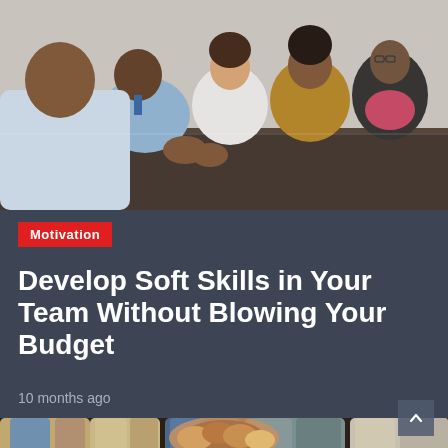[Figure (photo): People sitting around a conference table in a meeting, with a man in foreground gesturing and women across the table]
Motivation
Develop Soft Skills in Your Team Without Blowing Your Budget
10 months ago
[Figure (photo): Group of people sitting in a circle with their hands joined together in the center, view from above showing legs and hands]